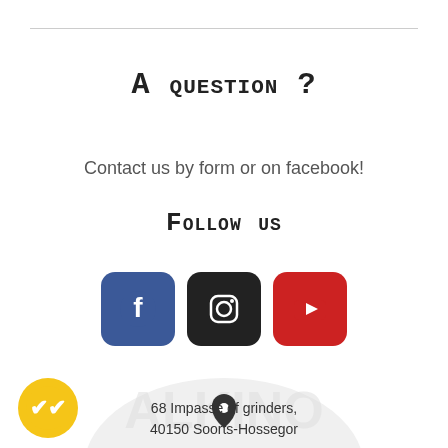A question ?
Contact us by form or on facebook!
Follow us
[Figure (illustration): Three social media icons: Facebook (blue), Instagram (dark/black), YouTube (red) with rounded square buttons]
[Figure (illustration): Hexagonal map background with a location pin icon and store logo watermark]
68 Impasse of grinders,
40150 Soorts-Hossegor
[Figure (illustration): Yellow circular badge with double checkmark icon (bottom left corner)]